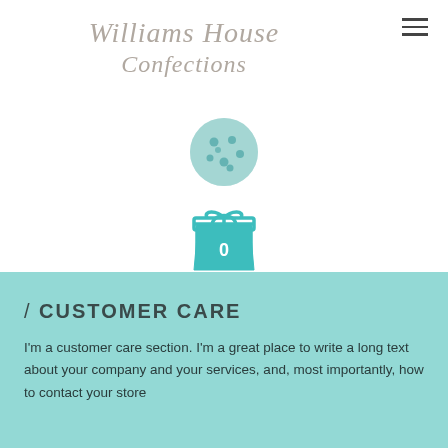Williams House Confections
[Figure (logo): Cookie icon - teal circle with darker teal dots resembling a cookie]
[Figure (illustration): Gift box icon in teal outline style]
[Figure (illustration): Shopping bag icon in teal with number 0 inside]
/ CUSTOMER CARE
I'm a customer care section. I'm a great place to write a long text about your company and your services, and, most importantly, how to contact your store